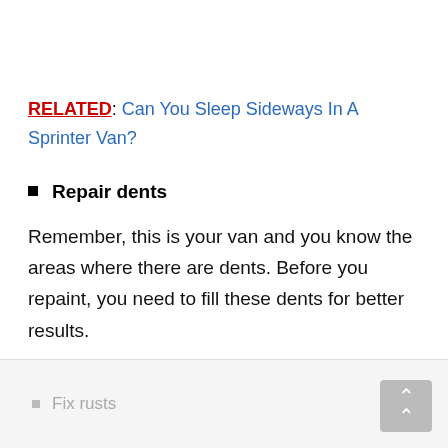RELATED: Can You Sleep Sideways In A Sprinter Van?
Repair dents
Remember, this is your van and you know the areas where there are dents. Before you repaint, you need to fill these dents for better results.
Fix rusts